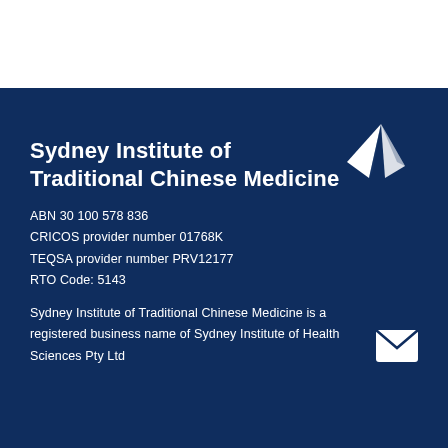[Figure (logo): White geometric logo resembling an open book or kite shape above the institute name]
Sydney Institute of Traditional Chinese Medicine
ABN 30 100 578 836
CRICOS provider number 01768K
TEQSA provider number PRV12177
RTO Code: 5143
[Figure (illustration): White envelope/email icon]
Sydney Institute of Traditional Chinese Medicine is a registered business name of Sydney Institute of Health Sciences Pty Ltd